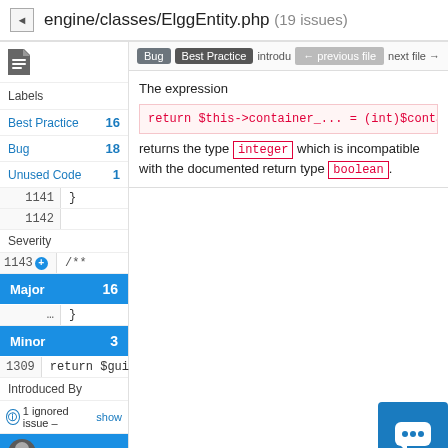engine/classes/ElggEntity.php (19 issues)
Bug | Best Practice | introduced 5 years ago by | ← previous file | next file →
Labels
Best Practice	16
Bug	18
Unused Code	1
The expression
return $this->container_... = (int)$container_gui
returns the type integer which is incompatible with the documented return type boolean.
1141	}
1142
Severity
1143 +	/**
Major	16
Minor	3
1309	return $guid;
Introduced By
ⓘ 1 ignored issue – show
Brett Profitt